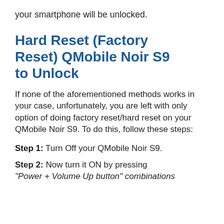your smartphone will be unlocked.
Hard Reset (Factory Reset) QMobile Noir S9 to Unlock
If none of the aforementioned methods works in your case, unfortunately, you are left with only option of doing factory reset/hard reset on your QMobile Noir S9. To do this, follow these steps:
Step 1: Turn Off your QMobile Noir S9.
Step 2: Now turn it ON by pressing "Power + Volume Up button" combinations